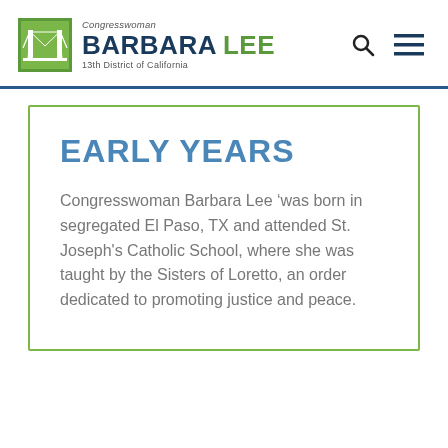Congresswoman Barbara Lee – 13th District of California
EARLY YEARS
Congresswoman Barbara Lee was born in segregated El Paso, TX and attended St. Joseph's Catholic School, where she was taught by the Sisters of Loretto, an order dedicated to promoting justice and peace.